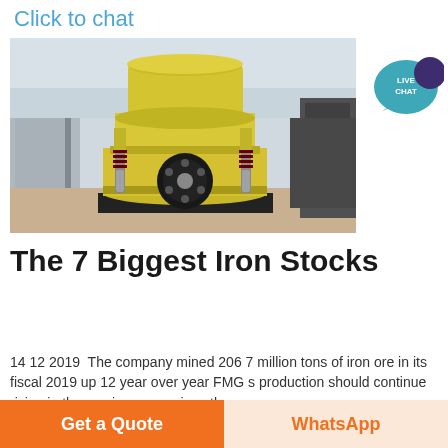Click to chat
[Figure (photo): Yellow industrial cone crusher machine photographed outdoors at a factory yard, front view showing large cylindrical top, hydraulic cylinders, and black pulley wheel at base.]
The 7 Biggest Iron Stocks
14 12 2019  The company mined 206 7 million tons of iron ore in its fiscal 2019 up 12 year over year FMG s production should continue rising in the coming years given the